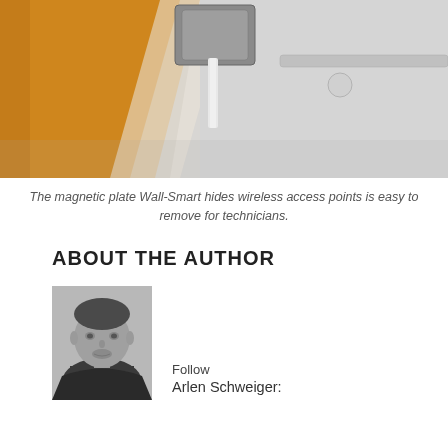[Figure (photo): Ceiling-mounted wireless access point hidden behind a magnetic Wall-Smart plate, viewed from below, with orange and grey tones]
The magnetic plate Wall-Smart hides wireless access points is easy to remove for technicians.
ABOUT THE AUTHOR
[Figure (photo): Black and white headshot of a young man with short dark hair and a beard, wearing a dark hoodie]
Follow
Arlen Schweiger: